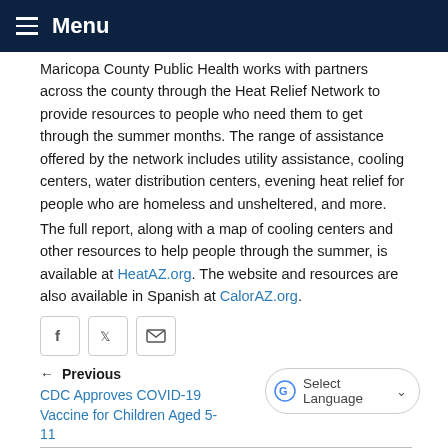Menu
Maricopa County Public Health works with partners across the county through the Heat Relief Network to provide resources to people who need them to get through the summer months. The range of assistance offered by the network includes utility assistance, cooling centers, water distribution centers, evening heat relief for people who are homeless and unsheltered, and more.
The full report, along with a map of cooling centers and other resources to help people through the summer, is available at HeatAZ.org. The website and resources are also available in Spanish at CalorAZ.org.
[Figure (other): Social share buttons: Facebook, Twitter, Email]
Previous
CDC Approves COVID-19 Vaccine for Children Aged 5-11
Select Language